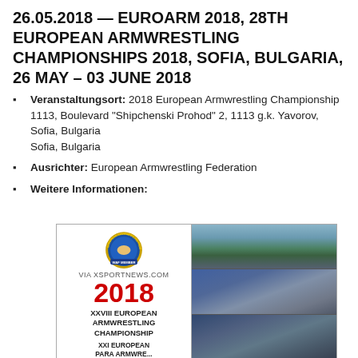26.05.2018 — EUROARM 2018, 28TH EUROPEAN ARMWRESTLING CHAMPIONSHIPS 2018, SOFIA, BULGARIA, 26 MAY – 03 JUNE 2018
Veranstaltungsort: 2018 European Armwrestling Championship
1113, Boulevard "Shipchenski Prohod" 2, 1113 g.k. Yavorov, Sofia, Bulgaria
Sofia, Bulgaria
Ausrichter: European Armwrestling Federation
Weitere Informationen:
[Figure (photo): Composite image: Left panel shows European Armwrestling Federation logo (WAF MEMBER) above '2018 XXVIII EUROPEAN ARMWRESTLING CHAMPIONSHIP XXI EUROPEAN PARA ARMWRESTLING' text with watermark 'VIA XSPORTNEWS.COM'. Right panel shows three stacked city photos of Sofia, Bulgaria.]